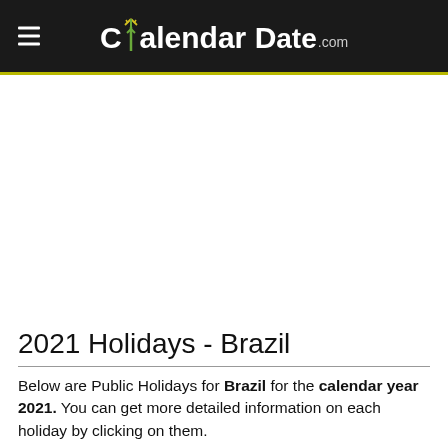Calendar Date.com
[Figure (other): Advertisement banner area (white/blank space)]
2021 Holidays - Brazil
Below are Public Holidays for Brazil for the calendar year 2021. You can get more detailed information on each holiday by clicking on them.